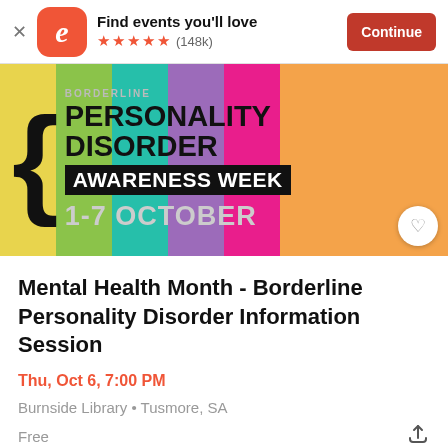Find events you'll love ★★★★★ (148k) Continue
[Figure (illustration): Personality Disorder Awareness Week 1-7 October colorful banner with curly brace and vertical color stripes (yellow, green, teal, purple, pink, orange)]
Mental Health Month - Borderline Personality Disorder Information Session
Thu, Oct 6, 7:00 PM
Burnside Library • Tusmore, SA
Free